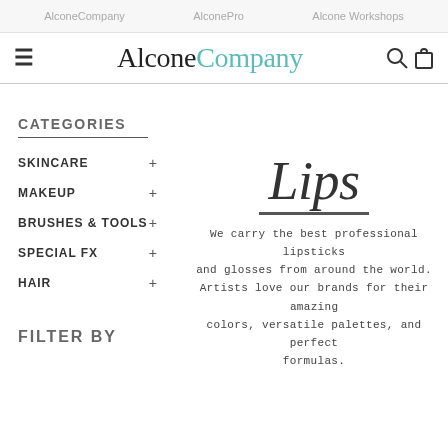AlconeCompany   AlconePro   Alcone Workshops
AlconeCompany
CATEGORIES
SKINCARE +
MAKEUP +
BRUSHES & TOOLS +
SPECIAL FX +
HAIR +
Lips
We carry the best professional lipsticks and glosses from around the world. Artists love our brands for their amazing colors, versatile palettes, and perfect formulas.
FILTER BY